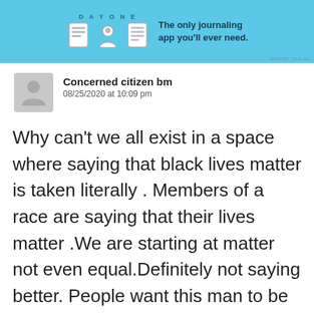[Figure (screenshot): Day One app advertisement banner with light blue background, app icons (notebook, person, document), and text 'DAYONE - The only journaling app you'll ever need.' with 'REPORT THIS AD' small text in corner.]
Concerned citizen bm
08/25/2020 at 10:09 pm
Why can't we all exist in a space where saying that black lives matter is taken literally . Members of a race are saying that their lives matter .We are starting at matter not even equal.Definitely not saying better. People want this man to be punished because he took the first step